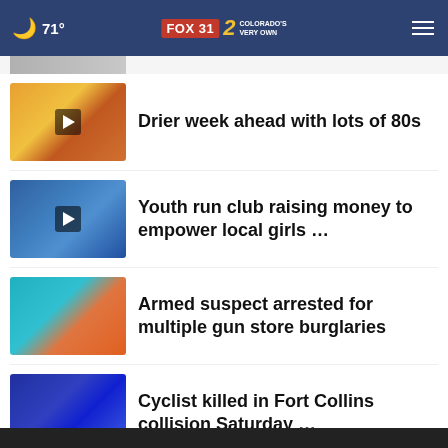71° FOX 31 2 COLORADO'S VERY OWN
Drier week ahead with lots of 80s
Youth run club raising money to empower local girls …
Armed suspect arrested for multiple gun store burglaries
Cyclist killed in Fort Collins collision Saturday …
More Stories ›